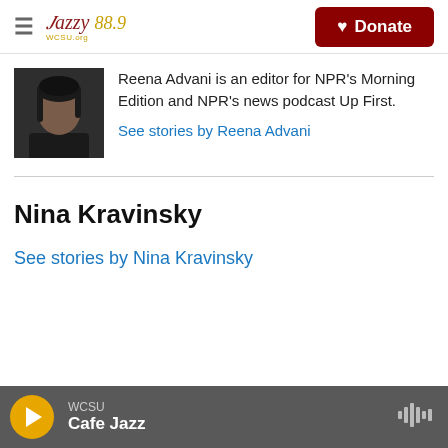Jazzy 88.9 | WCSU — Donate button
[Figure (photo): Headshot photo of Reena Advani, a woman with dark hair wearing a dark top]
Reena Advani is an editor for NPR's Morning Edition and NPR's news podcast Up First.
See stories by Reena Advani
Nina Kravinsky
See stories by Nina Kravinsky
WCSU Cafe Jazz — player bar